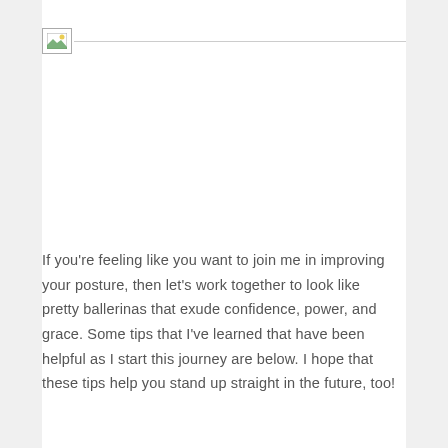[Figure (photo): Broken/missing image placeholder with a small icon and horizontal line]
If you're feeling like you want to join me in improving your posture, then let's work together to look like pretty ballerinas that exude confidence, power, and grace.  Some tips that I've learned that have been helpful as I start this journey are below.  I hope that these tips help you stand up straight in the future, too!